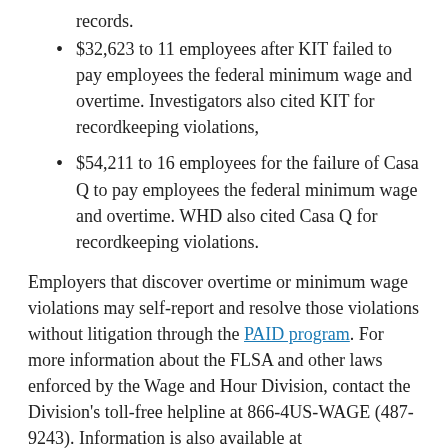records.
$32,623 to 11 employees after KIT failed to pay employees the federal minimum wage and overtime. Investigators also cited KIT for recordkeeping violations,
$54,211 to 16 employees for the failure of Casa Q to pay employees the federal minimum wage and overtime. WHD also cited Casa Q for recordkeeping violations.
Employers that discover overtime or minimum wage violations may self-report and resolve those violations without litigation through the PAID program. For more information about the FLSA and other laws enforced by the Wage and Hour Division, contact the Division's toll-free helpline at 866-4US-WAGE (487-9243). Information is also available at